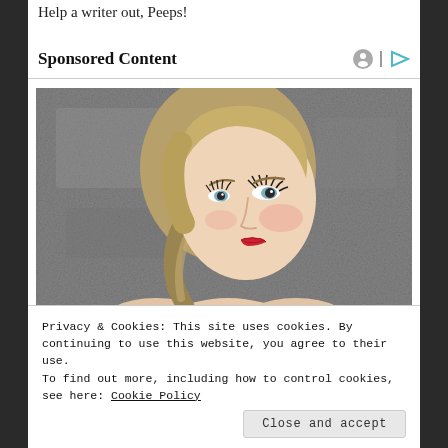Help a writer out, Peeps!
Sponsored Content
[Figure (photo): Portrait photo of a young blonde woman with red lipstick looking upward and to the left, against a grey concrete wall background]
Privacy & Cookies: This site uses cookies. By continuing to use this website, you agree to their use.
To find out more, including how to control cookies, see here: Cookie Policy
Close and accept